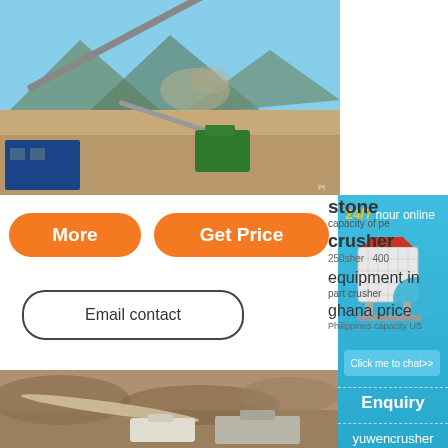[Figure (photo): Outdoor mining/crushing plant with conveyor belts, green machinery, blue shipping containers, mountains in background with dust.]
More
Get Price
Email contact
stone crusher
capacity of pe 250 crusher 400
equipment in ghana price
Philippines capacity US
[Figure (photo): Open pit quarry or mine with sandy/rocky terrain, white and gray machinery/equipment at bottom.]
[Figure (photo): Right sidebar: blue chat widget with crusher machine image, 24/7 hour online label, Click me to chat>> button, Enquiry section, yuwencrusher text.]
24/7 hour online
Click me to chat>>
Enquiry
yuwencrusher